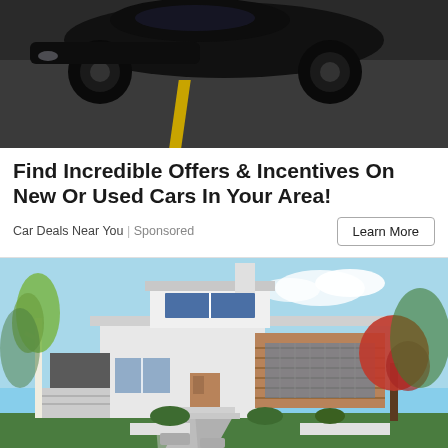[Figure (photo): Dark sports car on road with yellow center line, viewed from above/front angle]
Find Incredible Offers & Incentives On New Or Used Cars In Your Area!
Car Deals Near You | Sponsored
[Figure (photo): Modern two-story house with white and wood exterior, flat roof, large windows, landscaped front yard with white birch tree, red flowering tree, and paved walkway under blue sky]